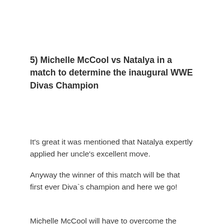5) Michelle McCool vs Natalya in a match to determine the inaugural WWE Divas Champion
It's great it was mentioned that Natalya expertly applied her uncle's excellent move.
Anyway the winner of this match will be that first ever Diva`s champion and here we go!
Michelle McCool will have to overcome the DNA of Natalya's wrestling greatness….awesome.